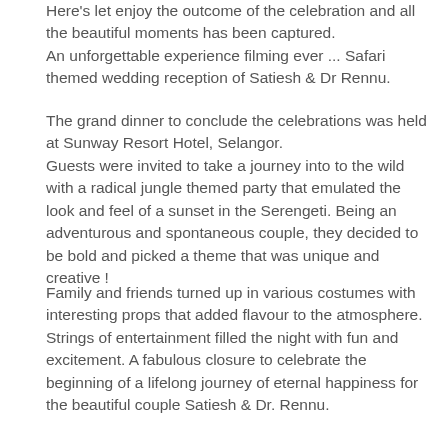Here's let enjoy the outcome of the celebration and all the beautiful moments has been captured.
An unforgettable experience filming ever ... Safari themed wedding reception of Satiesh & Dr Rennu.
The grand dinner to conclude the celebrations was held at Sunway Resort Hotel, Selangor.
Guests were invited to take a journey into to the wild with a radical jungle themed party that emulated the look and feel of a sunset in the Serengeti. Being an adventurous and spontaneous couple, they decided to be bold and picked a theme that was unique and creative !
Family and friends turned up in various costumes with interesting props that added flavour to the atmosphere. Strings of entertainment filled the night with fun and excitement. A fabulous closure to celebrate the beginning of a lifelong journey of eternal happiness for the beautiful couple Satiesh & Dr. Rennu.